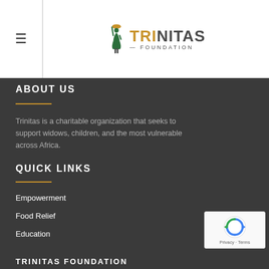[Figure (logo): Trinitas Foundation logo with figure holding a bowl above head, green and orange colored illustration. Text reads TRINITAS FOUNDATION.]
ABOUT US
Trinitas is a charitable organization that seeks to support widows, children, and the most vulnerable across Africa.
QUICK LINKS
Empowerment
Food Relief
Education
TRINITAS FOUNDATION